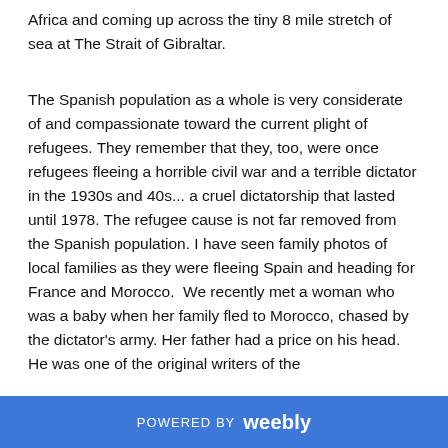Africa and coming up across the tiny 8 mile stretch of sea at The Strait of Gibraltar.
The Spanish population as a whole is very considerate of and compassionate toward the current plight of refugees. They remember that they, too, were once refugees fleeing a horrible civil war and a terrible dictator in the 1930s and 40s... a cruel dictatorship that lasted until 1978. The refugee cause is not far removed from the Spanish population. I have seen family photos of local families as they were fleeing Spain and heading for France and Morocco.  We recently met a woman who was a baby when her family fled to Morocco, chased by the dictator's army. Her father had a price on his head.  He was one of the original writers of the
POWERED BY weebly